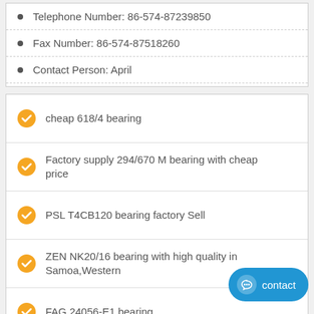Telephone Number: 86-574-87239850
Fax Number: 86-574-87518260
Contact Person: April
cheap 618/4 bearing
Factory supply 294/670 M bearing with cheap price
PSL T4CB120 bearing factory Sell
ZEN NK20/16 bearing with high quality in Samoa,Western
FAG 24056-E1 bearing
CX KBK18X22X24 bearing
NACHI 7020DT bearing